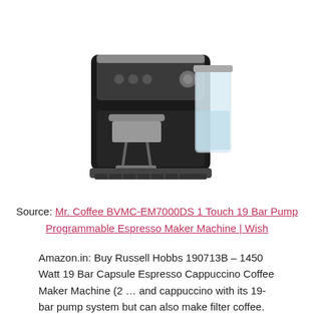[Figure (photo): Photo of a black and silver espresso machine (Mr. Coffee BVMC-EM7000DS) with a transparent milk frother on the right side and a portafilter handle in front.]
Source: Mr. Coffee BVMC-EM7000DS 1 Touch 19 Bar Pump Programmable Espresso Maker Machine | Wish
Amazon.in: Buy Russell Hobbs 190713B – 1450 Watt 19 Bar Capsule Espresso Cappuccino Coffee Maker Machine (2 … and cappuccino with its 19-bar pump system but can also make filter coffee. The capsule coffee maker is compatible with Nespresso and Dolce Gusto Capsule additionally you can use ground coffee as …